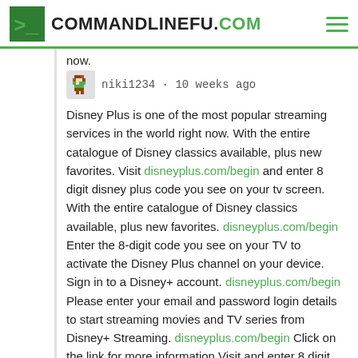COMMANDLINEFU.COM
now.
niki1234 · 10 weeks ago
Disney Plus is one of the most popular streaming services in the world right now. With the entire catalogue of Disney classics available, plus new favorites. Visit disneyplus.com/begin and enter 8 digit disney plus code you see on your tv screen. With the entire catalogue of Disney classics available, plus new favorites. disneyplus.com/begin Enter the 8-digit code you see on your TV to activate the Disney Plus channel on your device. Sign in to a Disney+ account. disneyplus.com/begin Please enter your email and password login details to start streaming movies and TV series from Disney+ Streaming. disneyplus.com/begin Click on the link for more information.Visit and enter 8 digit disney plus code you see on your tv screen.